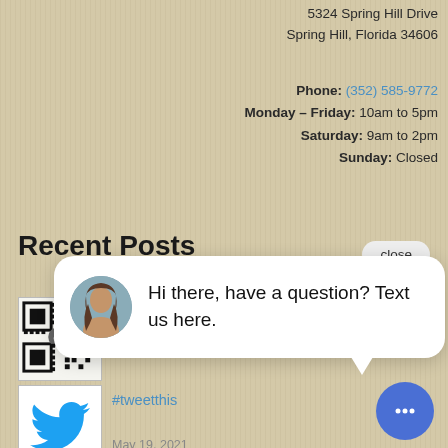5324 Spring Hill Drive
Spring Hill, Florida 34606
Phone: (352) 585-9772
Monday – Friday: 10am to 5pm
Saturday: 9am to 2pm
Sunday: Closed
Recent Posts
[Figure (other): QR code thumbnail for Linktree post]
Linktree
June 3, 2021
[Figure (other): Twitter bird logo thumbnail for tweet post]
#tweetthis
May 19, 2021
[Figure (other): TikTok post thumbnail with QR code]
Tick, Tock – Are You on TikTok?
May 19, 2021
[Figure (other): Chat popup with avatar photo of woman and message: Hi there, have a question? Text us here. With close button and chat FAB button.]